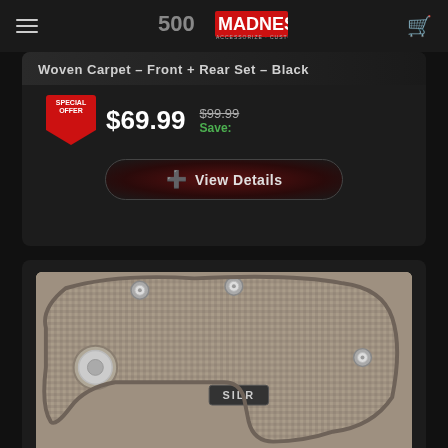[Figure (screenshot): 500 Madness logo with tagline: Accessorize, Customize, Personalize]
Woven Carpet - Front + Rear Set - Black
SPECIAL OFFER $69.99 $99.99 Save:
View Details
[Figure (photo): Close-up photo of a dark gray woven carpet floor mat with metal grommets and SILR brand label]